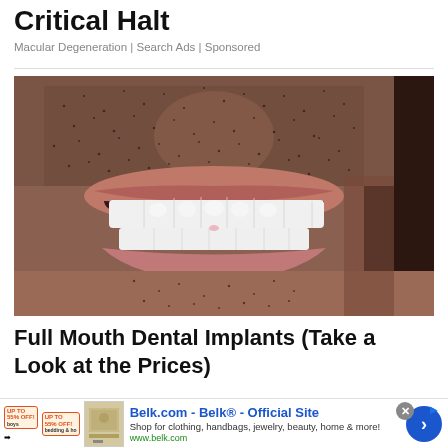Critical Halt
Macular Degeneration | Search Ads | Sponsored
[Figure (photo): Close-up photo of a man smiling showing white dental implants/veneers on upper and lower teeth with facial stubble visible]
Full Mouth Dental Implants (Take a Look at the Prices)
Belk.com - Belk® - Official Site
Shop for clothing, handbags, jewelry, beauty, home & more!
www.belk.com